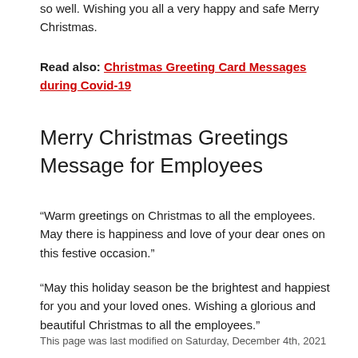so well. Wishing you all a very happy and safe Merry Christmas.
Read also: Christmas Greeting Card Messages during Covid-19
Merry Christmas Greetings Message for Employees
“Warm greetings on Christmas to all the employees. May there is happiness and love of your dear ones on this festive occasion.”
“May this holiday season be the brightest and happiest for you and your loved ones. Wishing a glorious and beautiful Christmas to all the employees.”
This page was last modified on Saturday, December 4th, 2021